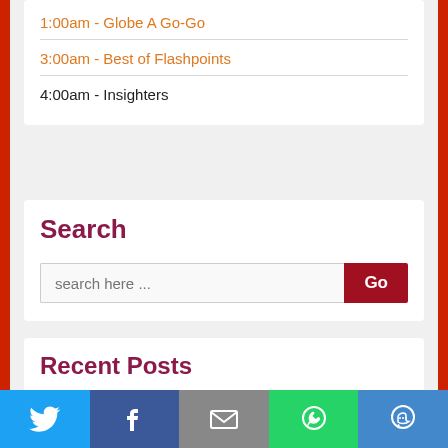1:00am - Globe A Go-Go
3:00am - Best of Flashpoints
4:00am - Insighters
Search
search here ...
Recent Posts